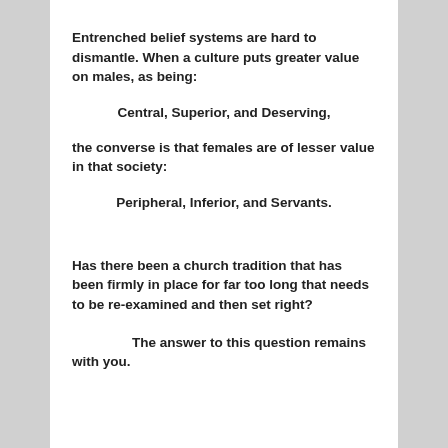Entrenched belief systems are hard to dismantle. When a culture puts greater value on males, as being:
Central, Superior, and Deserving,
the converse is that females are of lesser value in that society:
Peripheral, Inferior, and Servants.
Has there been a church tradition that has been firmly in place for far too long that needs to be re-examined and then set right?
The answer to this question remains with you.